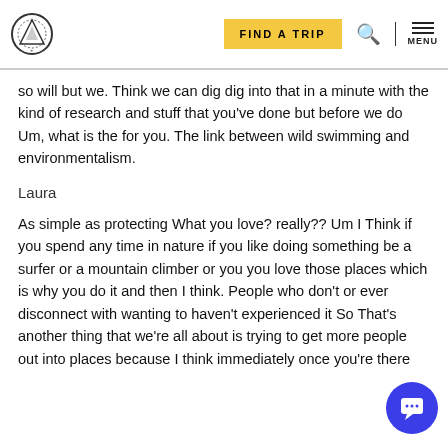FIND A TRIP | [search icon] | MENU
so will but we. Think we can dig dig into that in a minute with the kind of research and stuff that you've done but before we do Um, what is the for you. The link between wild swimming and environmentalism.
Laura
As simple as protecting What you love? really?? Um I Think if you spend any time in nature if you like doing something be a surfer or a mountain climber or you you love those places which is why you do it and then I think. People who don't or ever disconnect with wanting to haven't experienced it So That's another thing that we're all about is trying to get more people out into places because I think immediately once you're there